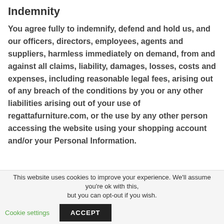Indemnity
You agree fully to indemnify, defend and hold us, and our officers, directors, employees, agents and suppliers, harmless immediately on demand, from and against all claims, liability, damages, losses, costs and expenses, including reasonable legal fees, arising out of any breach of the conditions by you or any other liabilities arising out of your use of regattafurniture.com, or the use by any other person accessing the website using your shopping account and/or your Personal Information.
This website uses cookies to improve your experience. We'll assume you're ok with this, but you can opt-out if you wish. Cookie settings ACCEPT